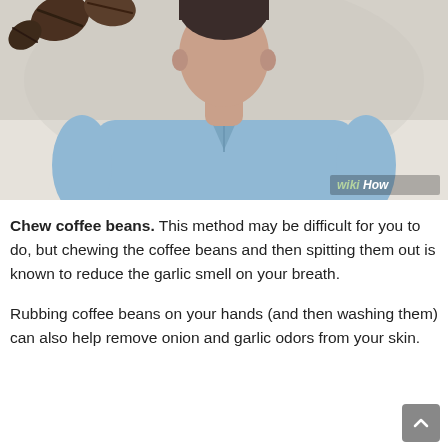[Figure (illustration): WikiHow illustration showing a person in a blue shirt with coffee beans nearby, set against a light gray/beige background. WikiHow watermark in bottom right corner.]
Chew coffee beans. This method may be difficult for you to do, but chewing the coffee beans and then spitting them out is known to reduce the garlic smell on your breath.
Rubbing coffee beans on your hands (and then washing them) can also help remove onion and garlic odors from your skin.